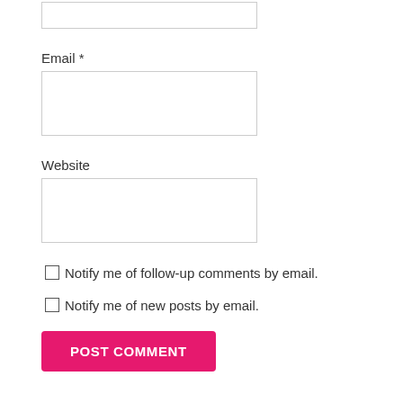[Figure (screenshot): Top of a partially visible text input field (stub/cutoff at page top)]
Email *
[Figure (screenshot): Email input text field, empty]
Website
[Figure (screenshot): Website input text field, empty]
Notify me of follow-up comments by email.
Notify me of new posts by email.
POST COMMENT
This site uses Akismet to reduce spam. Learn how